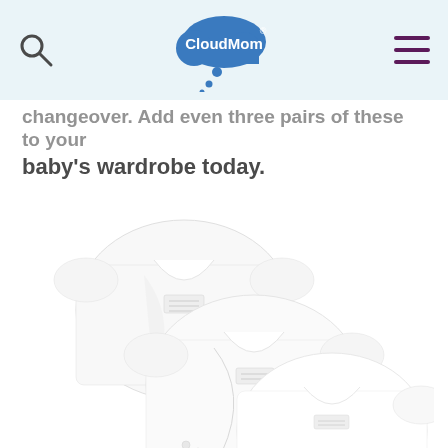CloudMom
changeover. Add even three pairs of these to your baby's wardrobe today.
[Figure (photo): Three white short-sleeve baby wrap shirts/t-shirts overlapping each other, displayed on a white background. Each shirt has a small label visible at the chest area.]